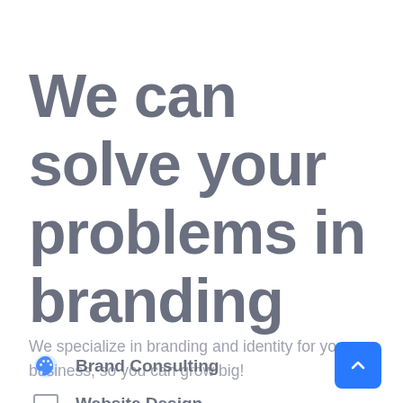We can solve your problems in branding
We specialize in branding and identity for your business, so you can grow big!
Brand Consulting
Website Design
[Figure (other): Blue back-to-top button with upward chevron arrow]